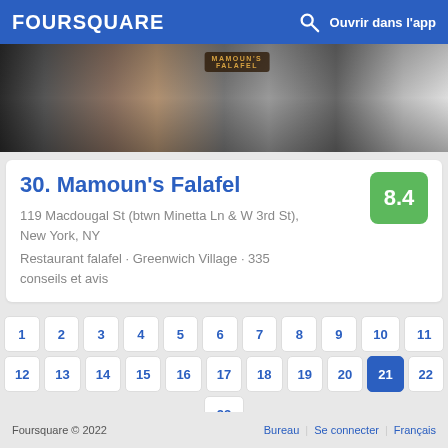FOURSQUARE  Ouvrir dans l'app
[Figure (photo): Crowd of people at Mamoun's Falafel restaurant exterior, dark ambiance with blurred figures]
30. Mamoun's Falafel
119 Macdougal St (btwn Minetta Ln & W 3rd St), New York, NY
Restaurant falafel · Greenwich Village · 335 conseils et avis
1
2
3
4
5
6
7
8
9
10
11
12
13
14
15
16
17
18
19
20
21
22
23
Foursquare © 2022   Bureau  Se connecter  Français